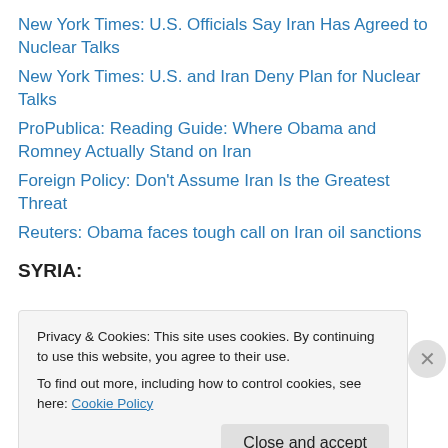New York Times: U.S. Officials Say Iran Has Agreed to Nuclear Talks
New York Times: U.S. and Iran Deny Plan for Nuclear Talks
ProPublica: Reading Guide: Where Obama and Romney Actually Stand on Iran
Foreign Policy: Don't Assume Iran Is the Greatest Threat
Reuters: Obama faces tough call on Iran oil sanctions
SYRIA:
Privacy & Cookies: This site uses cookies. By continuing to use this website, you agree to their use.
To find out more, including how to control cookies, see here: Cookie Policy